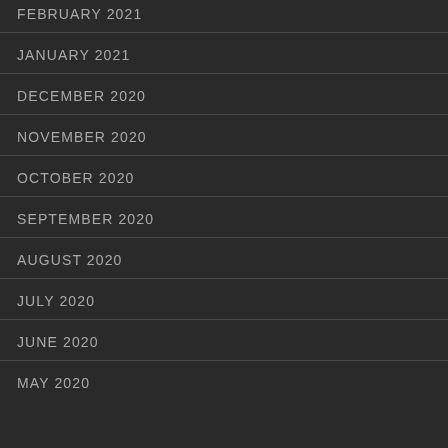FEBRUARY 2021
JANUARY 2021
DECEMBER 2020
NOVEMBER 2020
OCTOBER 2020
SEPTEMBER 2020
AUGUST 2020
JULY 2020
JUNE 2020
MAY 2020